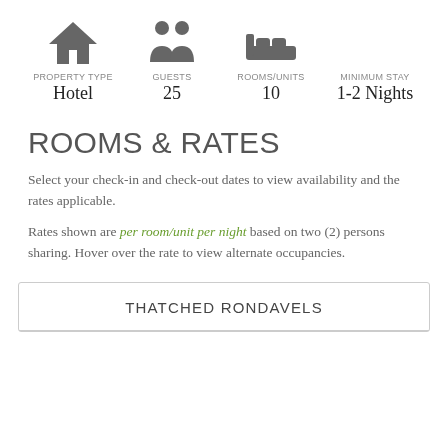[Figure (infographic): Four icons in a row: house (property type), two people (guests), bed (rooms/units), crescent moon (minimum stay)]
PROPERTY TYPE
Hotel
GUESTS
25
ROOMS/UNITS
10
MINIMUM STAY
1-2 Nights
ROOMS & RATES
Select your check-in and check-out dates to view availability and the rates applicable.
Rates shown are per room/unit per night based on two (2) persons sharing. Hover over the rate to view alternate occupancies.
THATCHED RONDAVELS